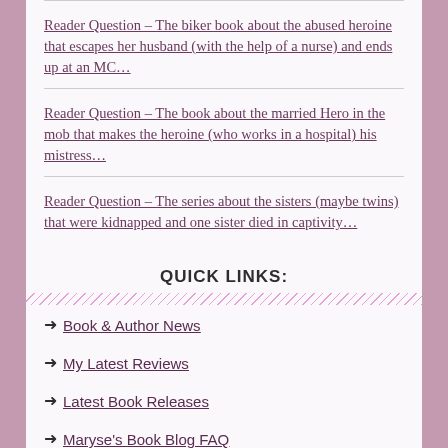Reader Question – The biker book about the abused heroine that escapes her husband (with the help of a nurse) and ends up at an MC…
Reader Question – The book about the married Hero in the mob that makes the heroine (who works in a hospital) his mistress…
Reader Question – The series about the sisters (maybe twins) that were kidnapped and one sister died in captivity…
QUICK LINKS:
Book & Author News
My Latest Reviews
Latest Book Releases
Maryse's Book Blog FAQ